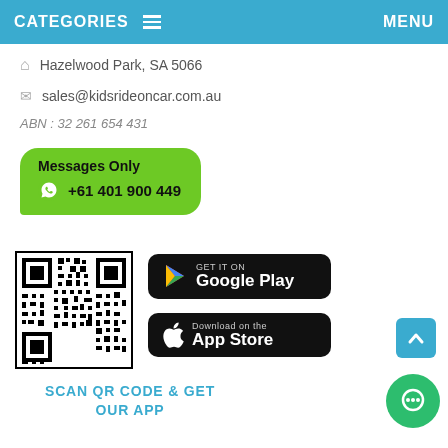CATEGORIES  ≡    MENU
Hazelwood Park, SA 5066
sales@kidsrideoncar.com.au
ABN : 32 261 654 431
Messages Only
+61 401 900 449
[Figure (other): QR code for app download alongside Google Play and App Store download buttons]
SCAN QR CODE & GET OUR APP